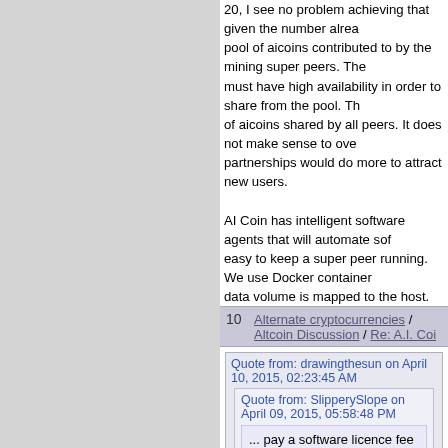20, I see no problem achieving that given the number already pool of aicoins contributed to by the mining super peers. The must have high availability in order to share from the pool. Th of aicoins shared by all peers. It does not make sense to ove partnerships would do more to attract new users.

AI Coin has intelligent software agents that will automate sof easy to keep a super peer running. We use Docker container data volume is mapped to the host.
10    Alternate cryptocurrencies / Altcoin Discussion / Re: A.I. Coi
Quote from: drawingthesun on April 10, 2015, 02:23:45 AM
Quote from: SlipperySlope on April 09, 2015, 05:58:48 PM
... pay a software licence fee to the company...
This coin will not take off under that model.
What will happen, is that all of your technology will be copied and use

Of course, you can get around this by making the coin closed source,
Well, what is worse from your point of view is that the intellige Most of the source code will be available for inspection, and honor software patents. Each of our peers wraps a branded n source.